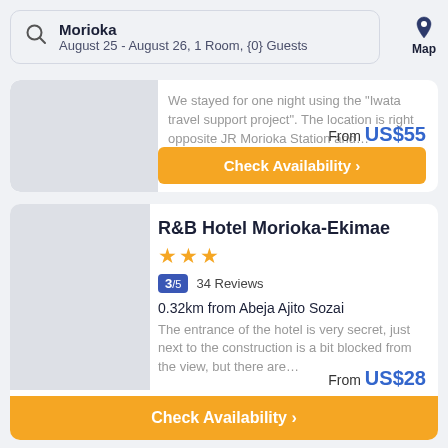Morioka — August 25 - August 26, 1 Room, {0} Guests
We stayed for one night using the "Iwata travel support project". The location is right opposite JR Morioka Station and…
From US$55
Check Availability
R&B Hotel Morioka-Ekimae
3/5  34 Reviews
0.32km from Abeja Ajito Sozai
The entrance of the hotel is very secret, just next to the construction is a bit blocked from the view, but there are…
From US$28
Check Availability